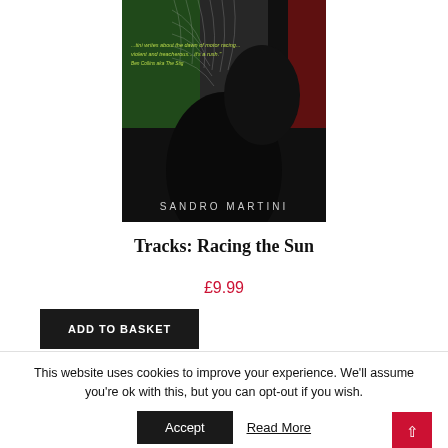[Figure (illustration): Book cover of 'Tracks: Racing the Sun' by Sandro Martini. Dark/black background with a silhouetted figure, Italian flag colors (green, white, red), feather/wing pattern, and a quote in green text: '...tini writes about the dawn of motor racing... violent and treacherous... it’s a rush.' Ben Collins aka The Stig. Author name SANDRO MARTINI at the bottom in light lettering.]
Tracks: Racing the Sun
£9.99
ADD TO BASKET
This website uses cookies to improve your experience. We’ll assume you’re ok with this, but you can opt-out if you wish.
Accept
Read More